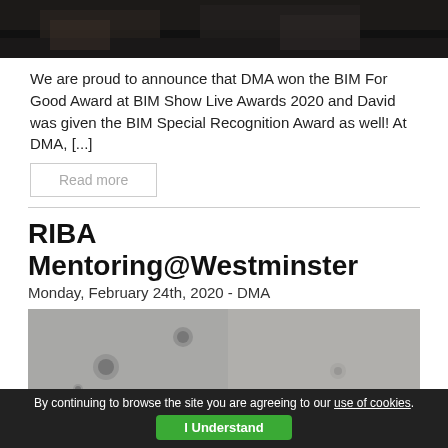[Figure (photo): Dark photo showing people at an awards event, cropped to show hands/upper body area]
We are proud to announce that DMA won the BIM For Good Award at BIM Show Live Awards 2020 and David was given the BIM Special Recognition Award as well! At DMA, [...]
Read more
RIBA Mentoring@Westminster
Monday, February 24th, 2020 - DMA
[Figure (photo): Grey ceiling interior photo showing recessed light fixtures]
By continuing to browse the site you are agreeing to our use of cookies. I Understand